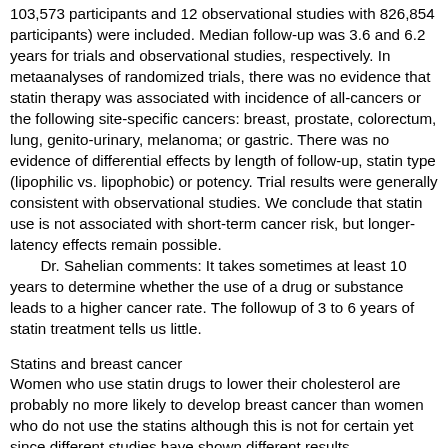103,573 participants and 12 observational studies with 826,854 participants) were included. Median follow-up was 3.6 and 6.2 years for trials and observational studies, respectively. In metaanalyses of randomized trials, there was no evidence that statin therapy was associated with incidence of all-cancers or the following site-specific cancers: breast, prostate, colorectum, lung, genito-urinary, melanoma; or gastric. There was no evidence of differential effects by length of follow-up, statin type (lipophilic vs. lipophobic) or potency. Trial results were generally consistent with observational studies. We conclude that statin use is not associated with short-term cancer risk, but longer-latency effects remain possible.
Dr. Sahelian comments: It takes sometimes at least 10 years to determine whether the use of a drug or substance leads to a higher cancer rate. The followup of 3 to 6 years of statin treatment tells us little.
Statins and breast cancer
Women who use statin drugs to lower their cholesterol are probably no more likely to develop breast cancer than women who do not use the statins although this is not for certain yet since different studies have shown different results.